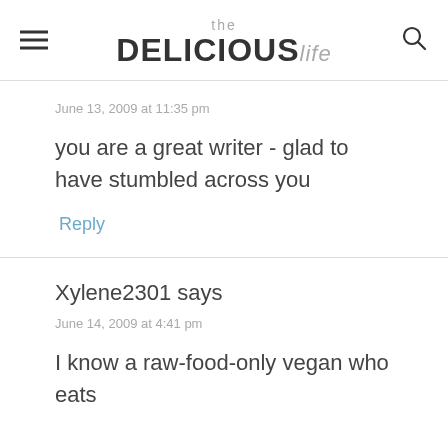the DELICIOUS life
June 13, 2009 at 11:35 pm
you are a great writer - glad to have stumbled across you
Reply
Xylene2301 says
June 14, 2009 at 4:41 pm
I know a raw-food-only vegan who eats